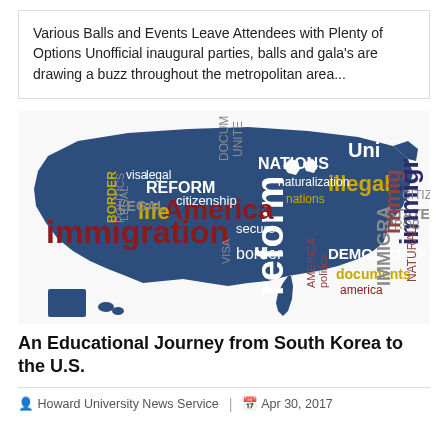Various Balls and Events Leave Attendees with Plenty of Options Unofficial inaugural parties, balls and gala's are drawing a buzz throughout the metropolitan area...
[Figure (map): Word cloud map of the United States filled with immigration-related terms such as 'immigration', 'reform', 'illegal', 'America', 'DEMOCRACY', 'documents', 'border', 'citizenship', 'naturalization', 'NATIONS', 'visa', 'legal', 'REFORM', 'life', 'STATES', 'BORDER', 'POLITICS', 'LEGAL', 'secure', 'nations', 'IMMIGRA', 'america', 'politics', 'AMERICA', 'CITIZEN', 'PROB', 'NATURALI', 'IMMIGRAN', 'immigr' in various colors (white, dark red, yellow, gray) on a dark blue US map silhouette.]
An Educational Journey from South Korea to the U.S.
Howard University News Service  |  Apr 30, 2017